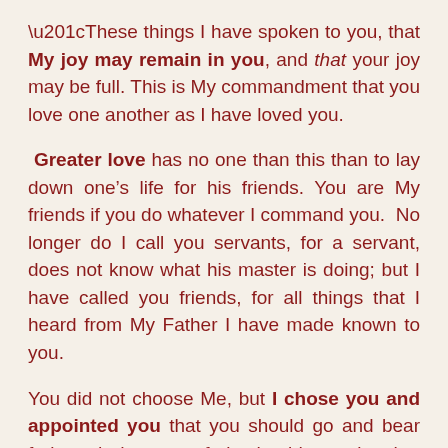“These things I have spoken to you, that My joy may remain in you, and that your joy may be full. This is My commandment that you love one another as I have loved you.
Greater love has no one than this than to lay down one’s life for his friends. You are My friends if you do whatever I command you. No longer do I call you servants, for a servant, does not know what his master is doing; but I have called you friends, for all things that I heard from My Father I have made known to you.
You did not choose Me, but I chose you and appointed you that you should go and bear fruit and that your fruit should remain, that whatever you ask the Father in My name He may give you. These things I command you, that you love one another.